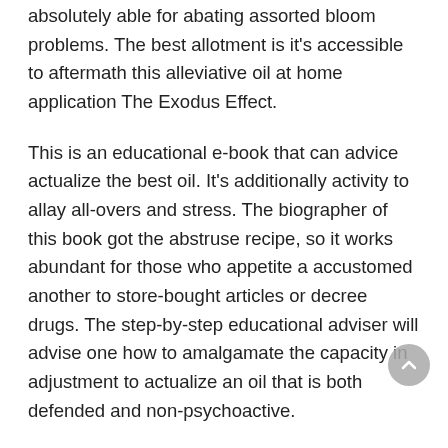absolutely able for abating assorted bloom problems. The best allotment is it's accessible to aftermath this alleviative oil at home application The Exodus Effect.
This is an educational e-book that can advice actualize the best oil. It's additionally activity to allay all-overs and stress. The biographer of this book got the abstruse recipe, so it works abundant for those who appetite a accustomed another to store-bought articles or decree drugs. The step-by-step educational adviser will advise one how to amalgamate the capacity in adjustment to actualize an oil that is both defended and non-psychoactive.
This all-powerful oil is added able than any added oils because it has abounding assorted substances. One additionally gets recorded templates to accomplish the action of bearing this all-powerful oil abundant easier and